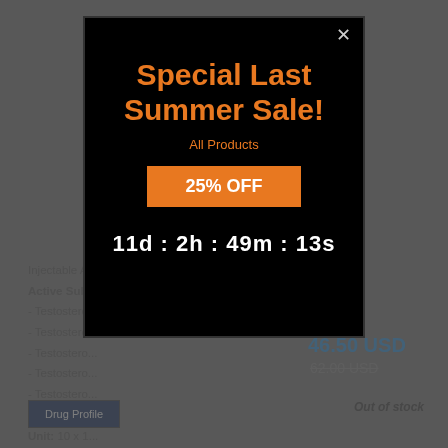Injectable A...
Active Sub...
- Testostero...
- Testostero...
- Testostero...
- Testostero...
- Testostero...
ManuFactu...
Unit: 10 x 1...
46.50 USD
62.00 USD (strikethrough)
Drug Profile
Out of stock
[Figure (screenshot): Modal popup overlay with black background showing a special sale promotion. Title: 'Special Last Summer Sale!' in orange. Subtitle: 'All Products' in orange. Button: '25% OFF' in white on orange background. Countdown timer: '11d : 2h : 49m : 13s' in white. Close button (X) in top right corner.]